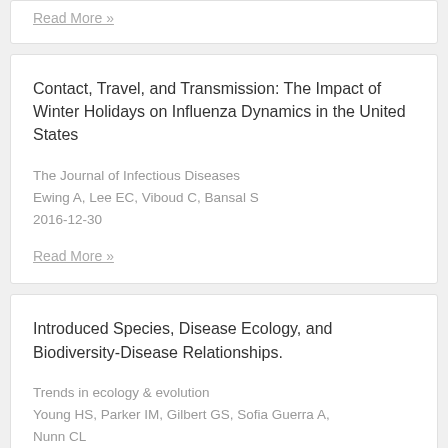Read More »
Contact, Travel, and Transmission: The Impact of Winter Holidays on Influenza Dynamics in the United States
The Journal of Infectious Diseases
Ewing A, Lee EC, Viboud C, Bansal S
2016-12-30
Read More »
Introduced Species, Disease Ecology, and Biodiversity-Disease Relationships.
Trends in ecology & evolution
Young HS, Parker IM, Gilbert GS, Sofia Guerra A, Nunn CL